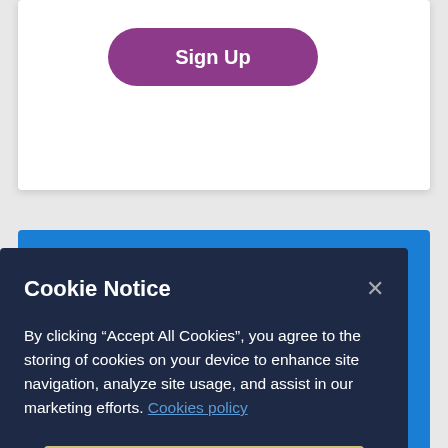[Figure (screenshot): White card with a purple rounded 'Sign Up' button]
Questions and Answers
Cookie Notice
By clicking “Accept All Cookies”, you agree to the storing of cookies on your device to enhance site navigation, analyze site usage, and assist in our marketing efforts. Cookies policy
[Figure (screenshot): Yellow 'Accept Cookies' button]
Cookies Settings